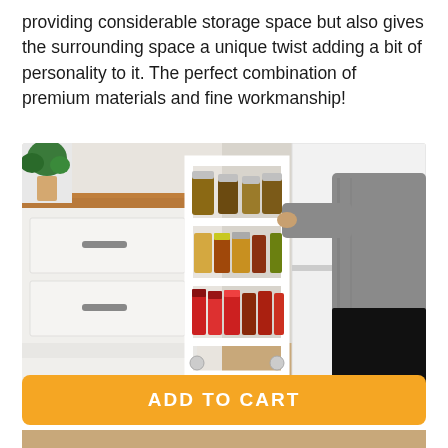providing considerable storage space but also gives the surrounding space a unique twist adding a bit of personality to it. The perfect combination of premium materials and fine workmanship!
[Figure (photo): A person pulling out a narrow white rolling storage cart/shelf unit from between a white kitchen cabinet with drawer handles and a white refrigerator. The cart has multiple shelves stocked with condiment bottles, jars, and food items. A potted plant is visible in the upper left background.]
ADD TO CART